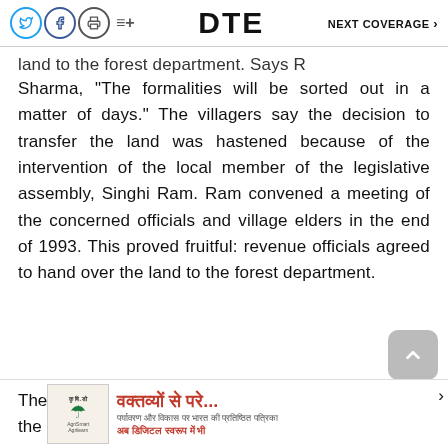DTE  NEXT COVERAGE >
land to the forest department. Says R Sharma, "The formalities will be sorted out in a matter of days." The villagers say the decision to transfer the land was hastened because of the intervention of the local member of the legislative assembly, Singhi Ram. Ram convened a meeting of the concerned officials and village elders in the end of 1993. This proved fruitful: revenue officials agreed to hand over the land to the forest department.
The the